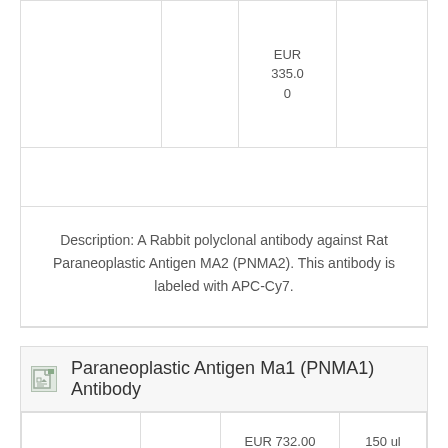|  |  | Price | Size |
| --- | --- | --- | --- |
|  |  | EUR
335.00 |  |
Description: A Rabbit polyclonal antibody against Rat Paraneoplastic Antigen MA2 (PNMA2). This antibody is labeled with APC-Cy7.
Paraneoplastic Antigen Ma1 (PNMA1) Antibody
|  |  | Price | Size |
| --- | --- | --- | --- |
| 20-abx114328 | Abbexa | EUR 732.00
EUR 398.00 | 150 ul
50 ul |
|  |  |  |  |